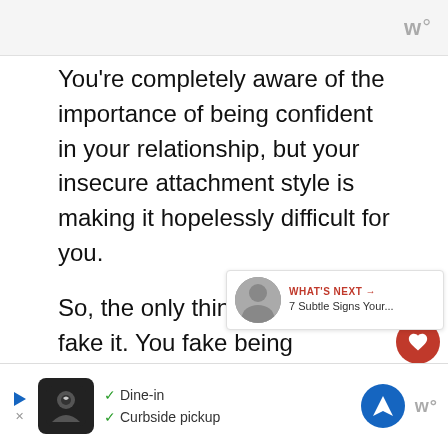w°
You're completely aware of the importance of being confident in your relationship, but your insecure attachment style is making it hopelessly difficult for you.
So, the only thing  left to do is fake it. You fake being confident, while on the inside you're the total opposite.
[Figure (infographic): Red heart/like button with count 7, and share button]
[Figure (infographic): What's Next arrow promo: 7 Subtle Signs Your...]
[Figure (infographic): Advertisement banner: Dine-in, Curbside pickup]